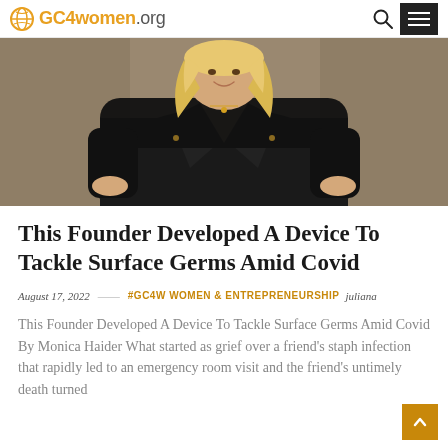GC4women.org
[Figure (photo): A blonde woman in a black blazer smiling, photographed outdoors in an urban setting, hands on hips.]
This Founder Developed A Device To Tackle Surface Germs Amid Covid
August 17, 2022  ——  #GC4W WOMEN & ENTREPRENEURSHIP  juliana
This Founder Developed A Device To Tackle Surface Germs Amid Covid By Monica Haider What started as grief over a friend's staph infection that rapidly led to an emergency room visit and the friend's untimely death turned